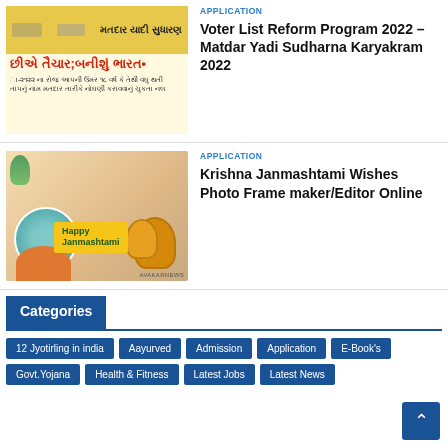[Figure (illustration): Voter list reform program banner with Gujarati text on yellow background]
APPLICATION
Voter List Reform Program 2022 – Matdar Yadi Sudharna Karyakram 2022
[Figure (illustration): Krishna Janmashtami decorative image with Lord Krishna, Happy Janmashtami banner, and decorative pots. AVAKARNEWS watermark.]
APPLICATION
Krishna Janmashtami Wishes Photo Frame maker/Editor Online
Categories
12 Jyotirling in india
Aayurved
Admission
Application
E-Book's
Govt.Yojana
Health & Fitness
Latest Jobs
Latest News